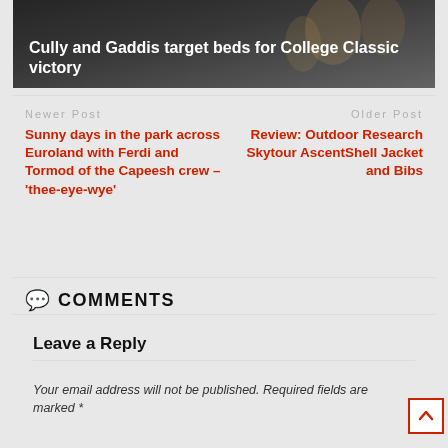[Figure (photo): Hero image of fishing/sports event with overlaid title text 'Cully and Gaddis target beds for College Classic victory']
Cully and Gaddis target beds for College Classic victory
Newer Post
Sunny days in the park across Euroland with Ferdi and Tormod of the Capeesh crew – 'thee-eye-wye'
Older Post
Review: Outdoor Research Skytour AscentShell Jacket and Bibs
COMMENTS
Leave a Reply
Your email address will not be published. Required fields are marked *